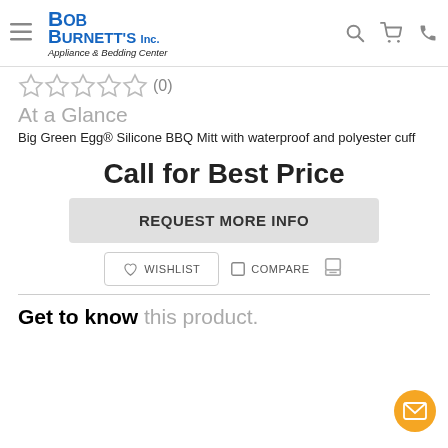[Figure (logo): Bob Burnett's Inc. Appliance & Bedding Center logo with navigation icons]
★★★★★ (0)
At a Glance
Big Green Egg® Silicone BBQ Mitt with waterproof and polyester cuff
Call for Best Price
REQUEST MORE INFO
♡ WISHLIST   □ COMPARE
Get to know this product.